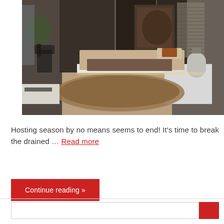[Figure (photo): A modern luxury bedroom with a low platform bed with beige/tan upholstery and an orange pillow, brown shag rug on beige stone floor, dark grey walls, white floating side tables, large abstract artwork on wall, indoor plant, and blinds on windows.]
Hosting season by no means seems to end! It's time to break the drained ... Read more
Continue reading »